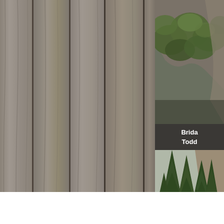[Figure (photo): Close-up of weathered gray wooden fence planks with visible knots and grain texture, occupying the left three-quarters of the image.]
[Figure (photo): Top-right inset photo showing green leafy treetops against a rocky cliff face.]
Brida
Todd
[Figure (photo): Bottom-right inset photo showing an aerial or elevated view of a forested hillside with pine trees, rocky cliffs, and a small white building with a red roof below.]